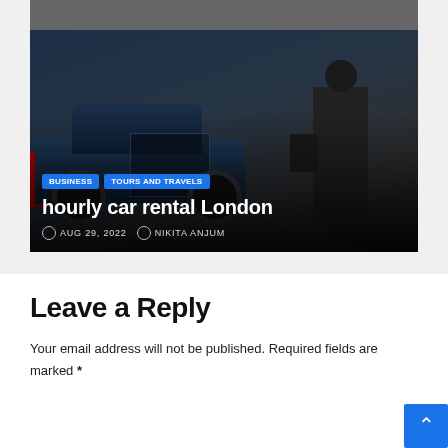[Figure (photo): A black luxury sedan with door open, a person in dark suit placing luggage, overlaid with article title and metadata]
hourly car rental London
BUSINESS   TOURS AND TRAVELS
AUG 29, 2022   NIKITA ANJUM
Leave a Reply
Your email address will not be published. Required fields are marked *